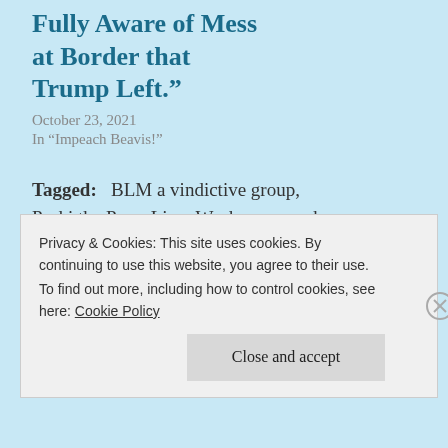Fully Aware of Mess at Border that Trump Left.”
October 23, 2021
In “Impeach Beavis!”
Tagged:   BLM a vindictive group,  Psaki the Press Liar,  Weak news anchors
Privacy & Cookies: This site uses cookies. By continuing to use this website, you agree to their use.
To find out more, including how to control cookies, see here: Cookie Policy
Close and accept